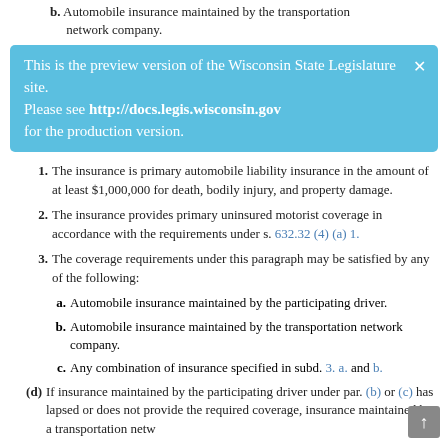b. Automobile insurance maintained by the transportation network company.
This is the preview version of the Wisconsin State Legislature site. Please see http://docs.legis.wisconsin.gov for the production version.
1. The insurance is primary automobile liability insurance in the amount of at least $1,000,000 for death, bodily injury, and property damage.
2. The insurance provides primary uninsured motorist coverage in accordance with the requirements under s. 632.32 (4) (a) 1.
3. The coverage requirements under this paragraph may be satisfied by any of the following:
a. Automobile insurance maintained by the participating driver.
b. Automobile insurance maintained by the transportation network company.
c. Any combination of insurance specified in subd. 3. a. and b.
(d) If insurance maintained by the participating driver under par. (b) or (c) has lapsed or does not provide the required coverage, insurance maintained by a transportation netw...